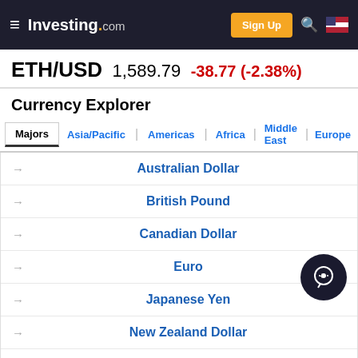Investing.com — Sign Up
ETH/USD 1,589.79 -38.77 (-2.38%)
Currency Explorer
Majors | Asia/Pacific | Americas | Africa | Middle East | Europe
Australian Dollar
British Pound
Canadian Dollar
Euro
Japanese Yen
New Zealand Dollar
Swiss Franc
ADVERTISEMENT
[Figure (other): Start Trading green advertisement banner with AD label]